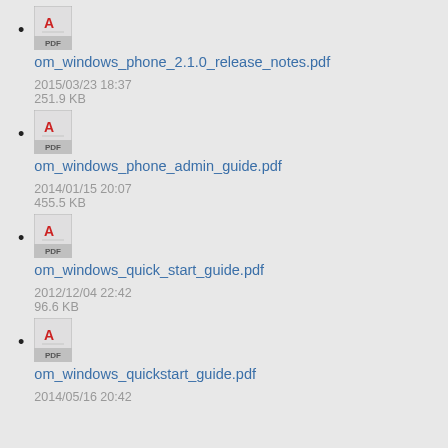om_windows_phone_2.1.0_release_notes.pdf
2015/03/23 18:37
251.9 KB
om_windows_phone_admin_guide.pdf
2014/01/15 20:07
455.5 KB
om_windows_quick_start_guide.pdf
2012/12/04 22:42
96.6 KB
om_windows_quickstart_guide.pdf
2014/05/16 20:42